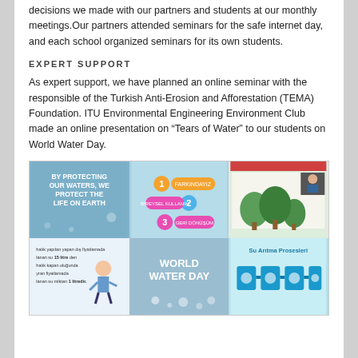decisions we made with our partners and students at our monthly meetings.Our partners attended seminars for the safe internet day, and each school organized seminars for its own students.
EXPERT SUPPORT
As expert support, we have planned an online seminar with the responsible of the Turkish Anti-Erosion and Afforestation (TEMA) Foundation. ITU Environmental Engineering Environment Club made an online presentation on “Tears of Water” to our students on World Water Day.
[Figure (photo): A 2x3 grid of six images related to water conservation and World Water Day, including a poster saying 'By protecting our waters, we protect the life on Earth', a numbered list graphic, a video call screenshot, an infographic about daily water usage, a 'World Water Day' graphic, and a 'Su Artima Prosesleri' (Water Purification Processes) diagram.]